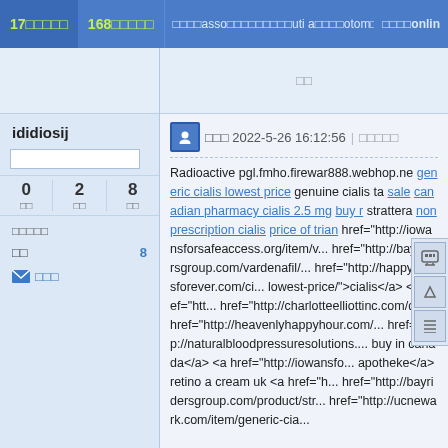17□□□□□  168□□□□□  □□□□asso□□□□□□□□□uti a□□□□otom□□□□□  □□□□online
□□
ididiosij
0 □□  2 □□  8 □□
□□□□□
□□  8
✉ □□□
□□ 2022-5-26 16:12:56 | □□□□□
Radioactive pgl.fmho.firewar888.webhop.ne generic cialis lowest price genuine cialis ta... sale canadian pharmacy cialis 2.5 mg buy... strattera non prescription cialis price of trian... href="http://iowansforsafeaccess.org/item/v... href="http://bayridersgroup.com/vardenafil/... href="http://happytrailsforever.com/ci... lowest-price/">cialis</a> <a href="htt... href="http://charlotteelliottinc.com/dr... href="http://heavenlyhappyhour.com/... href="http://naturalbloodpressuresolutions.... buy in canada</a> <a href="http://iowansfo... apotheke</a> retino a cream uk <a href="h... href="http://bayridersgroup.com/product/str... href="http://ucnewark.com/item/generic-cia...